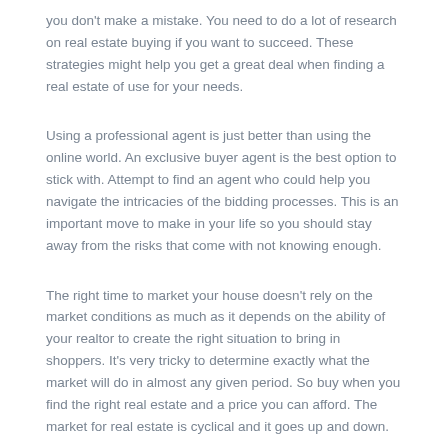you don't make a mistake. You need to do a lot of research on real estate buying if you want to succeed. These strategies might help you get a great deal when finding a real estate of use for your needs.
Using a professional agent is just better than using the online world. An exclusive buyer agent is the best option to stick with. Attempt to find an agent who could help you navigate the intricacies of the bidding processes. This is an important move to make in your life so you should stay away from the risks that come with not knowing enough.
The right time to market your house doesn't rely on the market conditions as much as it depends on the ability of your realtor to create the right situation to bring in shoppers. It's very tricky to determine exactly what the market will do in almost any given period. So buy when you find the right real estate and a price you can afford. The market for real estate is cyclical and it goes up and down.